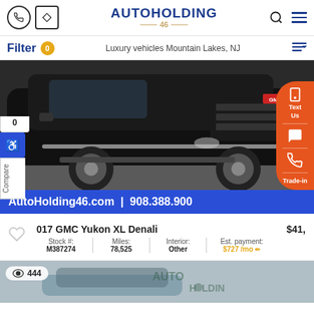AutoHolding 46 — navigation header with phone, directions, search, and menu icons
Filter 0  Luxury vehicles Mountain Lakes, NJ
[Figure (photo): Black GMC Yukon XL Denali SUV front/side view in a dealership lot]
AutoHolding46.com | 908.388.900
2017 GMC Yukon XL Denali  $41,
| Stock #: | Miles: | Interior: | Est. payment: |
| --- | --- | --- | --- |
| M387274 | 78,525 | Other | $727 /mo |
[Figure (photo): Partial view of a second vehicle listing — blue car in outdoor lot with AUTO HOLDING watermark and view count 444]